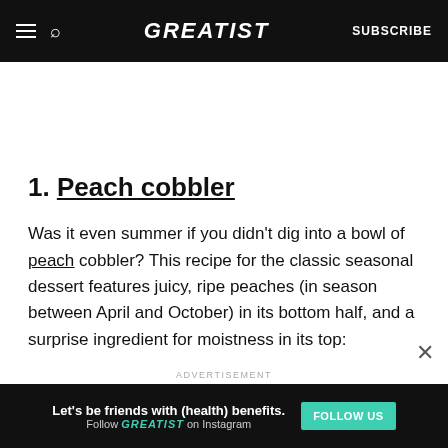GREATIST | SUBSCRIBE
1. Peach cobbler
Was it even summer if you didn't dig into a bowl of peach cobbler? This recipe for the classic seasonal dessert features juicy, ripe peaches (in season between April and October) in its bottom half, and a surprise ingredient for moistness in its top:
ADVERTISEMENT
Let's be friends with (health) benefits. Follow GREATIST on Instagram FOLLOW US